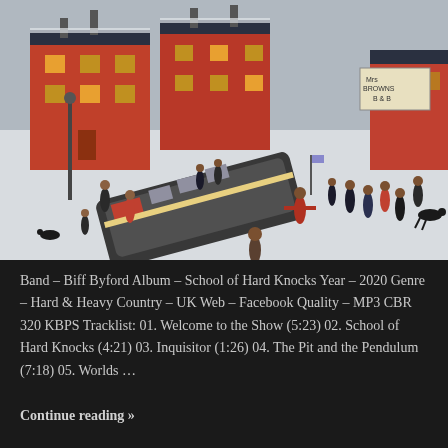[Figure (illustration): A painting in the style of L.S. Lowry depicting a busy winter street scene with red brick buildings, a bus or tram, and many figures in dark clothing walking around a snowy town square. A sign reading 'Mrs Browns B&B' is visible. The scene has a naive art style with figures on a white snowy ground.]
Band – Biff Byford Album – School of Hard Knocks Year – 2020 Genre – Hard & Heavy Country – UK Web – Facebook Quality – MP3 CBR 320 KBPS Tracklist: 01. Welcome to the Show (5:23) 02. School of Hard Knocks (4:21) 03. Inquisitor (1:26) 04. The Pit and the Pendulum (7:18) 05. Worlds ...
Continue reading »